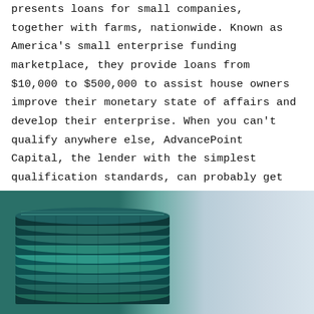presents loans for small companies, together with farms, nationwide. Known as America's small enterprise funding marketplace, they provide loans from $10,000 to $500,000 to assist house owners improve their monetary state of affairs and develop their enterprise. When you can't qualify anywhere else, AdvancePoint Capital, the lender with the simplest qualification standards, can probably get you over the goal line, edging out the competitors in this category.
[Figure (photo): Stack of teal/green coins on the left side against a light blue-grey gradient background]